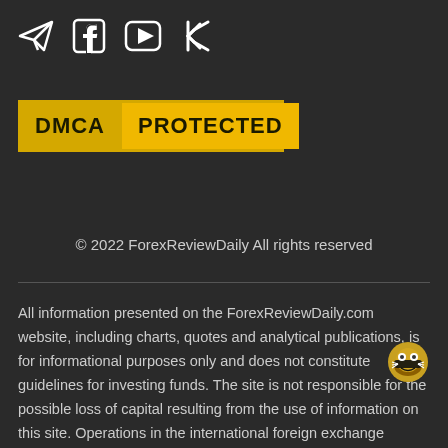[Figure (illustration): Social media icons row: Telegram (paper plane), Facebook (f), YouTube (play button), Kick (K logo)]
[Figure (logo): DMCA PROTECTED badge with gold/yellow background and dark border]
© 2022 ForexReviewDaily All rights reserved
All information presented on the ForexReviewDaily.com website, including charts, quotes and analytical publications, is for informational purposes only and does not constitute guidelines for investing funds. The site is not responsible for the possible loss of capital resulting from the use of information on this site. Operations in the international foreign exchange market Forex contain a high level of risk and are not suitable for all investors. Before starting to